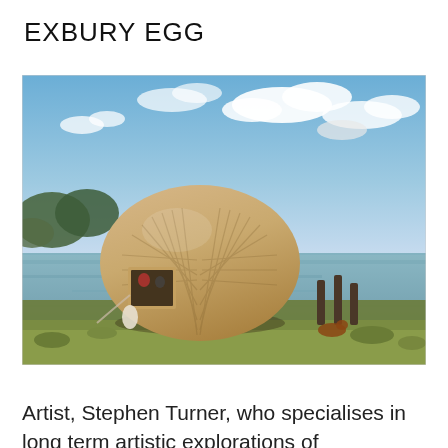EXBURY EGG
[Figure (photo): Large egg-shaped wooden structure sitting on or near a body of water. The structure has a herringbone wooden slat pattern and a small square window/door opening on its side. Blue sky with clouds in the background, green marshland and trees visible, wooden posts in the water to the right, a dog visible in the foreground right area.]
Artist, Stephen Turner, who specialises in long term artistic explorations of environmental